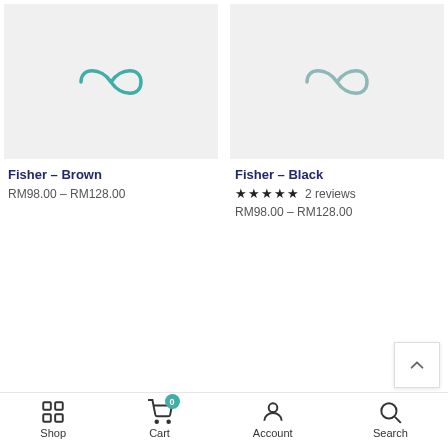[Figure (photo): Product image placeholder for Fisher - Brown (light gray background with teal infinity-like logo)]
Fisher - Brown
RM98.00 – RM128.00
[Figure (photo): Product image placeholder for Fisher - Black (light gray background with teal infinity-like logo)]
Fisher - Black
★★★★★ 2 reviews
RM98.00 – RM128.00
ADD TO CART
Shop  Cart  Account  Search